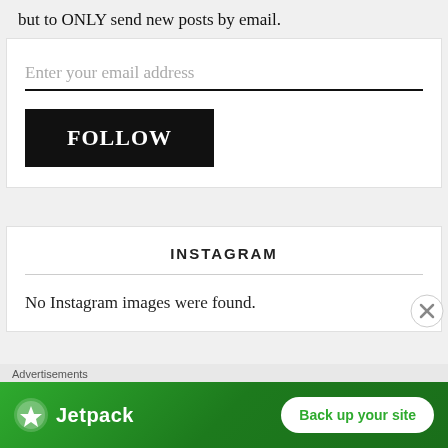but to ONLY send new posts by email.
Enter your email address
[Figure (other): Black FOLLOW button]
INSTAGRAM
No Instagram images were found.
Advertisements
[Figure (other): Jetpack advertisement banner with Back up your site button]